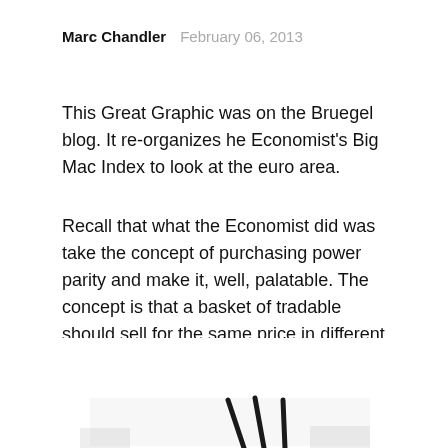Marc Chandler   February 06, 2013
This Great Graphic was on the Bruegel blog.  It re-organizes he Economist's Big Mac Index to look at the euro area.
Recall that what the Economist did was take the concept of purchasing power parity and make it, well, palatable.  The concept is that a basket of tradable should sell for the same price in different countries.  To the extent the...
[Figure (illustration): Partial view of a chart or graphic, showing diagonal dark lines/marks at the bottom of the page, partially cut off.]